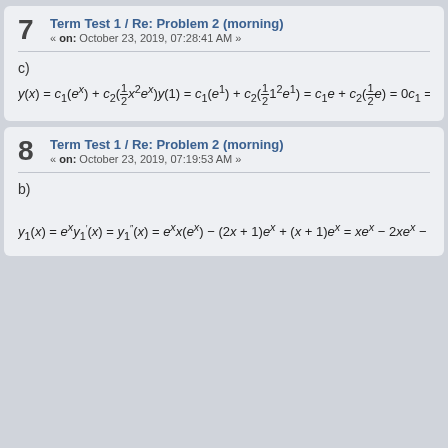7  Term Test 1 / Re: Problem 2 (morning)
« on: October 23, 2019, 07:28:41 AM »
c)
8  Term Test 1 / Re: Problem 2 (morning)
« on: October 23, 2019, 07:19:53 AM »
b)